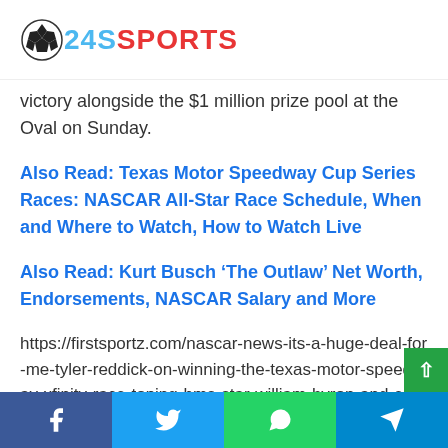24SSPORTS
victory alongside the $1 million prize pool at the Oval on Sunday.
Also Read: Texas Motor Speedway Cup Series Races: NASCAR All-Star Race Schedule, When and Where to Watch, How to Watch Live
Also Read: Kurt Busch ‘The Outlaw’ Net Worth, Endorsements, NASCAR Salary and More
https://firstsportz.com/nascar-news-its-a-huge-deal-for-me-tyler-reddick-on-winning-the-texas-motor-speedway-xfinity-race-toping-hms-star-william-byron-and-ending-the-jr-motorsports-domin/ “It’s a big deal for me,” said Tyler Redd…
Facebook | Twitter | WhatsApp | Telegram